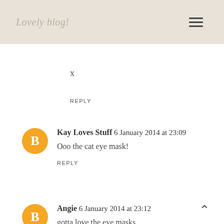Lovely blog!
x
REPLY
Kay Loves Stuff 6 January 2014 at 23:09
Ooo the cat eye mask!
REPLY
Angie 6 January 2014 at 23:12
gotta love the eye masks
REPLY